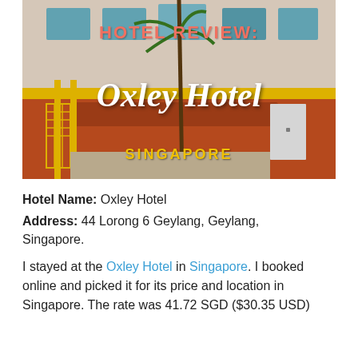[Figure (photo): Photo of Oxley Hotel exterior in Singapore, an orange/terracotta building with yellow accents and a palm tree. Overlaid text reads 'HOTEL REVIEW:' in coral/pink, 'Oxley Hotel' in white cursive script, and 'SINGAPORE' in yellow bold capitals.]
Hotel Name: Oxley Hotel
Address: 44 Lorong 6 Geylang, Geylang, Singapore.
I stayed at the Oxley Hotel in Singapore. I booked online and picked it for its price and location in Singapore. The rate was 41.72 SGD ($30.35 USD)